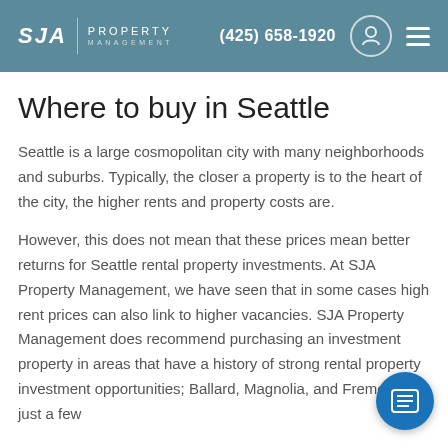SJA PROPERTY MANAGEMENT (425) 658-1920
Where to buy in Seattle
Seattle is a large cosmopolitan city with many neighborhoods and suburbs. Typically, the closer a property is to the heart of the city, the higher rents and property costs are.
However, this does not mean that these prices mean better returns for Seattle rental property investments. At SJA Property Management, we have seen that in some cases high rent prices can also link to higher vacancies. SJA Property Management does recommend purchasing an investment property in areas that have a history of strong rental property investment opportunities; Ballard, Magnolia, and Fremont are just a few